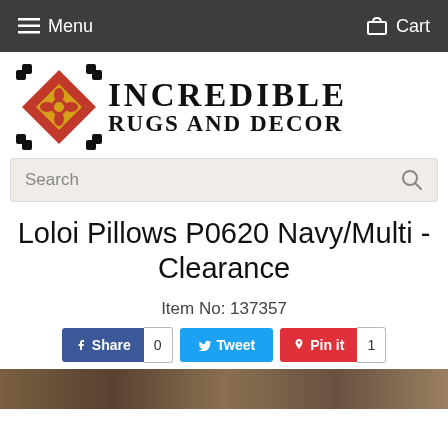Menu   Cart
[Figure (logo): Incredible Rugs and Decor logo with decorative red and gold diamond pattern symbol on the left and bold serif text reading INCREDIBLE RUGS AND DECOR]
Search
Loloi Pillows P0620 Navy/Multi - Clearance
Item No: 137357
Share  0   Tweet   Pin it  1
[Figure (photo): Partial bottom strip showing a decorative pillow product image]